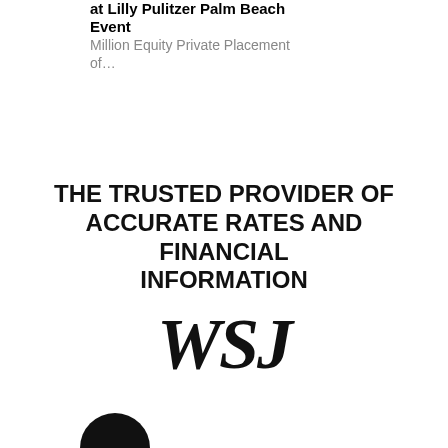at Lilly Pulitzer Palm Beach Event
Million Equity Private Placement of...
THE TRUSTED PROVIDER OF ACCURATE RATES AND FINANCIAL INFORMATION
[Figure (logo): WSJ (Wall Street Journal) logo in large serif bold letters]
[Figure (logo): Circular logo partially visible at bottom of page]